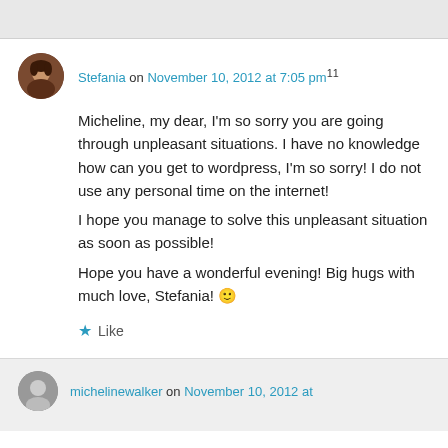Stefania on November 10, 2012 at 7:05 pm11
Micheline, my dear, I'm so sorry you are going through unpleasant situations. I have no knowledge how can you get to wordpress, I'm so sorry! I do not use any personal time on the internet!
I hope you manage to solve this unpleasant situation as soon as possible!
Hope you have a wonderful evening! Big hugs with much love, Stefania! 🙂
★ Like
michelinewalker on November 10, 2012 at